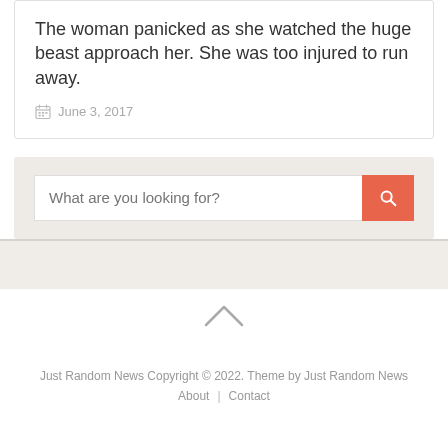The woman panicked as she watched the huge beast approach her. She was too injured to run away.
June 3, 2017
[Figure (screenshot): Search bar with placeholder text 'What are you looking for?' and an orange search button with a magnifying glass icon, on a light beige background]
[Figure (other): Chevron/up-arrow icon in gray]
Just Random News Copyright © 2022. Theme by Just Random News
About | Contact